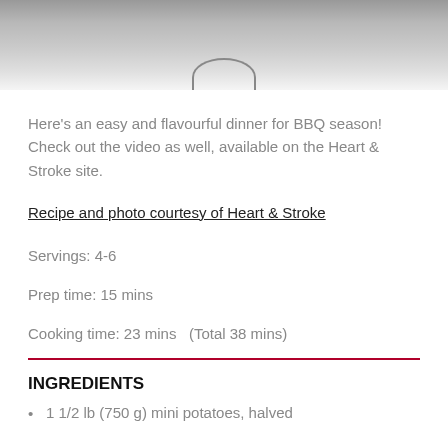[Figure (photo): Top portion of a food photo showing a BBQ dish in a red bowl on a grey surface, partially cropped at top of page]
Here's an easy and flavourful dinner for BBQ season! Check out the video as well, available on the Heart & Stroke site.
Recipe and photo courtesy of Heart & Stroke
Servings: 4-6
Prep time: 15 mins
Cooking time: 23 mins   (Total 38 mins)
INGREDIENTS
1 1/2 lb (750 g) mini potatoes, halved